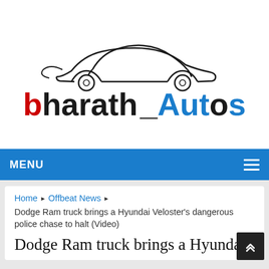[Figure (logo): Bharath Autos logo with a car silhouette outline above the text. 'bharath' is in red and 'Aut' and 'S' in blue with black connecting characters forming the brand name.]
MENU
Home ▶ Offbeat News ▶
Dodge Ram truck brings a Hyundai Veloster's dangerous police chase to halt (Video)
Dodge Ram truck brings a Hyundai